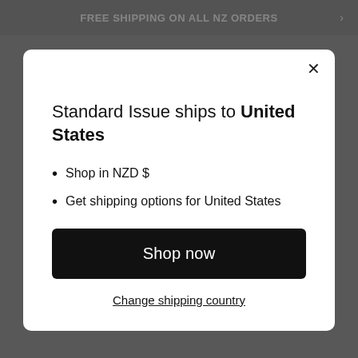FREE SHIPPING ON ALL NZ ORDERS
Standard Issue ships to United States
Shop in NZD $
Get shipping options for United States
Shop now
Change shipping country